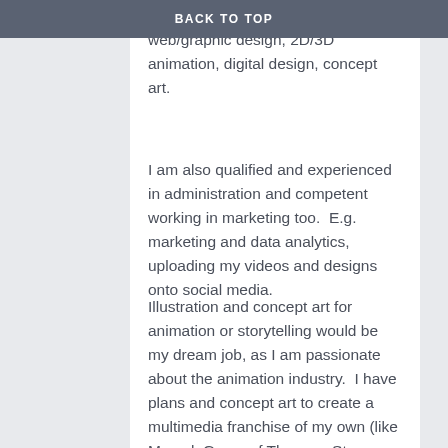BACK TO TOP
multimedia, such as video creation, web/graphic design, 2D/3D animation, digital design, concept art.
I am also qualified and experienced in administration and competent working in marketing too.  E.g. marketing and data analytics, uploading my videos and designs onto social media.
Illustration and concept art for animation or storytelling would be my dream job, as I am passionate about the animation industry.  I have plans and concept art to create a multimedia franchise of my own (like Marvel, Game of Thrones, Star Wars, Lord of the Rings, etc) My Honours Project was a conceptual pitch for a pilot of a